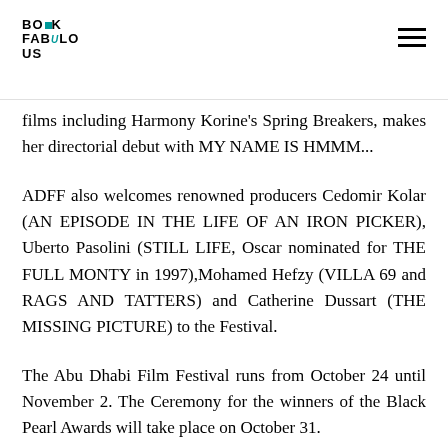BOOKFABULOUS
films including Harmony Korine's Spring Breakers, makes her directorial debut with MY NAME IS HMMM...
ADFF also welcomes renowned producers Cedomir Kolar (AN EPISODE IN THE LIFE OF AN IRON PICKER), Uberto Pasolini (STILL LIFE, Oscar nominated for THE FULL MONTY in 1997),Mohamed Hefzy (VILLA 69 and RAGS AND TATTERS) and Catherine Dussart (THE MISSING PICTURE) to the Festival.
The Abu Dhabi Film Festival runs from October 24 until November 2. The Ceremony for the winners of the Black Pearl Awards will take place on October 31.